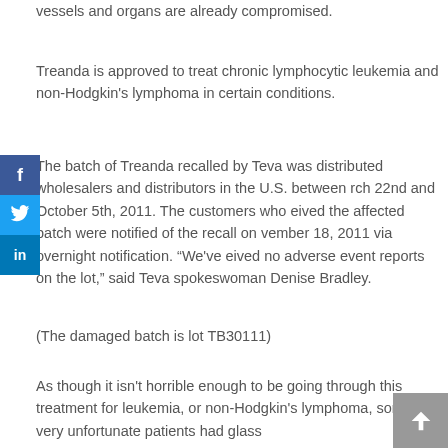vessels and organs are already compromised.
Treanda is approved to treat chronic lymphocytic leukemia and non-Hodgkin's lymphoma in certain conditions.
The batch of Treanda recalled by Teva was distributed wholesalers and distributors in the U.S. between rch 22nd and October 5th, 2011. The customers who eived the affected batch were notified of the recall on vember 18, 2011 via overnight notification. "We've eived no adverse event reports on the lot," said Teva spokeswoman Denise Bradley.
(The damaged batch is lot TB30111)
As though it isn't horrible enough to be going through this treatment for leukemia, or non-Hodgkin's lymphoma, some very unfortunate patients had glass